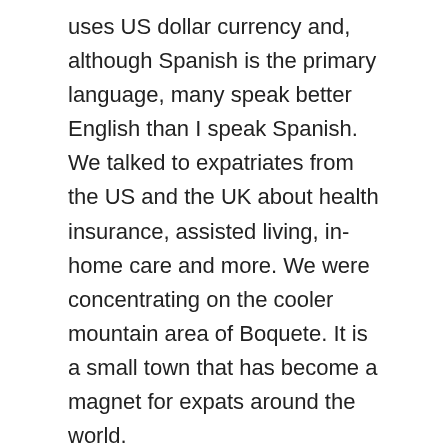uses US dollar currency and, although Spanish is the primary language, many speak better English than I speak Spanish. We talked to expatriates from the US and the UK about health insurance, assisted living, in-home care and more. We were concentrating on the cooler mountain area of Boquete. It is a small town that has become a magnet for expats around the world.
I met Sandra at a weekly market. She used to live in Western Washington and moved to Boquete in 2005. She told us that there is a great need for senior care just for the expats themselves. Let me explain the scenario; adult children decide to move to Panama in their 50's and 60's, and then realize that their parents